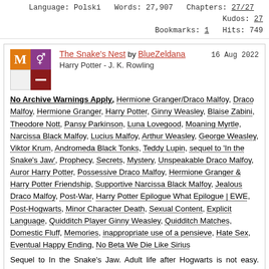Language: Polski  Words: 27,907  Chapters: 27/27  Kudos: 27  Bookmarks: 1  Hits: 749
The Snake's Nest by BlueZeldana  16 Aug 2022
Harry Potter - J. K. Rowling
No Archive Warnings Apply, Hermione Granger/Draco Malfoy, Draco Malfoy, Hermione Granger, Harry Potter, Ginny Weasley, Blaise Zabini, Theodore Nott, Pansy Parkinson, Luna Lovegood, Moaning Myrtle, Narcissa Black Malfoy, Lucius Malfoy, Arthur Weasley, George Weasley, Viktor Krum, Andromeda Black Tonks, Teddy Lupin, sequel to 'In the Snake's Jaw', Prophecy, Secrets, Mystery, Unspeakable Draco Malfoy, Auror Harry Potter, Possessive Draco Malfoy, Hermione Granger & Harry Potter Friendship, Supportive Narcissa Black Malfoy, Jealous Draco Malfoy, Post-War, Harry Potter Epilogue What Epilogue | EWE, Post-Hogwarts, Minor Character Death, Sexual Content, Explicit Language, Quidditch Player Ginny Weasley, Quidditch Matches, Domestic Fluff, Memories, inappropriate use of a pensieve, Hate Sex, Eventual Happy Ending, No Beta We Die Like Sirius
Sequel to In the Snake's Jaw. Adult life after Hogwarts is not easy. Hermione is still struggling with her parents' absence. Draco is trying to improve the relationship with his and enjoying his work as an Unspeakable, until a new prophecy is discovered. A new war is about to start, and Draco and Hermione are the only ones who can stop it.